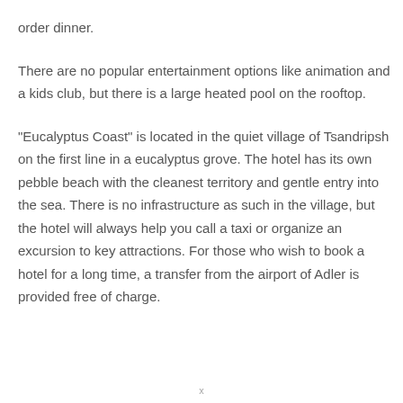order dinner.
There are no popular entertainment options like animation and a kids club, but there is a large heated pool on the rooftop.
“Eucalyptus Coast” is located in the quiet village of Tsandripsh on the first line in a eucalyptus grove. The hotel has its own pebble beach with the cleanest territory and gentle entry into the sea. There is no infrastructure as such in the village, but the hotel will always help you call a taxi or organize an excursion to key attractions. For those who wish to book a hotel for a long time, a transfer from the airport of Adler is provided free of charge.
x